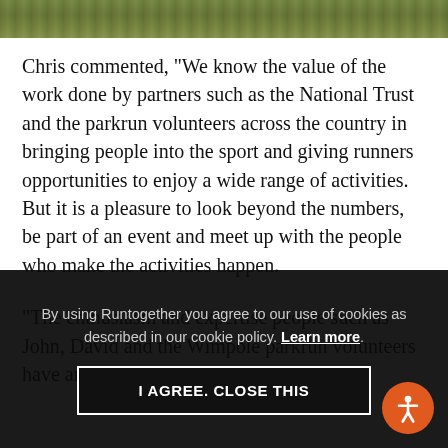[Figure (photo): Outdoor green landscape photo strip at the top of the page]
Chris commented, “We know the value of the work done by partners such as the National Trust and the parkrun volunteers across the country in bringing people into the sport and giving runners opportunities to enjoy a wide range of activities. But it is a pleasure to look beyond the numbers, be part of an event and meet up with the people who make the activities happen.
“The enthusiasm and expertise people such as John, David and the Wimpole parkrun volunteers have are
By using Runtogether you agree to our use of cookies as described in our cookie policy. Learn more.
I AGREE. CLOSE THIS